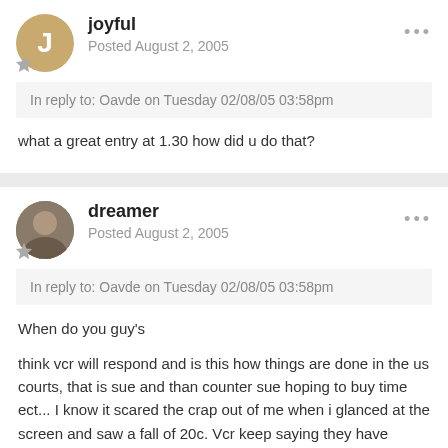joyful
Posted August 2, 2005
In reply to: Oavde on Tuesday 02/08/05 03:58pm
what a great entry at 1.30 how did u do that?
dreamer
Posted August 2, 2005
In reply to: Oavde on Tuesday 02/08/05 03:58pm
When do you guy's

think vcr will respond and is this how things are done in the us courts, that is sue and than counter sue hoping to buy time ect... I know it scared the crap out of me when i glanced at the screen and saw a fall of 20c. Vcr keep saying they have strong patents